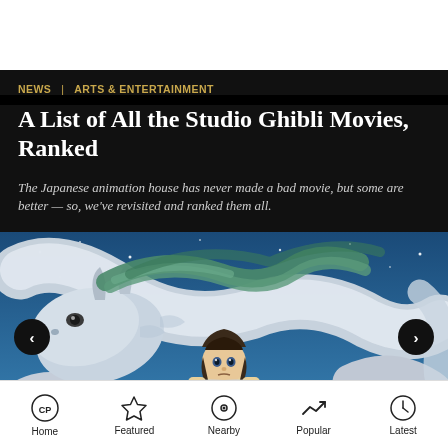NEWS  ARTS & ENTERTAINMENT
A List of All the Studio Ghibli Movies, Ranked
The Japanese animation house has never made a bad movie, but some are better — so, we've revisited and ranked them all.
[Figure (illustration): Scene from Studio Ghibli's Spirited Away showing Chihiro riding on Haku the dragon against a blue night sky, with carousel navigation arrows on left and right.]
Home  Featured  Nearby  Popular  Latest